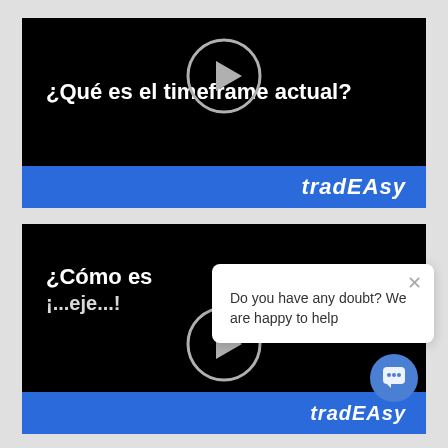[Figure (screenshot): Video thumbnail with black background showing text '¿Qué es el timeframe actual?' with a circular play button overlay and blue bar at bottom with 'tradEAsy' logo]
[Figure (screenshot): Second video thumbnail with black background showing partially visible text '¿Cómo es...' and '¡...eje...!' with circular play button and blue bar at bottom, overlaid by a chat popup saying 'Do you have any doubt? We are happy to help' with close button, and a chat bubble icon]